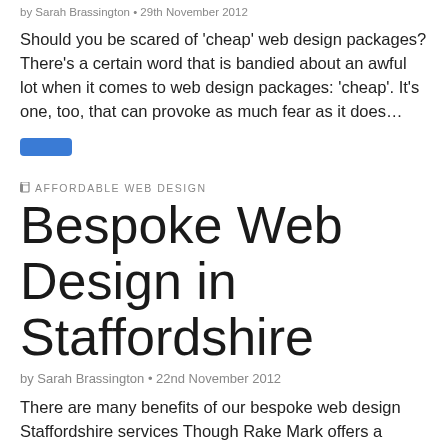by Sarah Brassington • 29th November 2012
Should you be scared of ‘cheap’ web design packages? There’s a certain word that is bandied about an awful lot when it comes to web design packages: ‘cheap’. It’s one, too, that can provoke as much fear as it does…
[Figure (other): Blue rounded rectangle button (read more button)]
AFFORDABLE WEB DESIGN
Bespoke Web Design in Staffordshire
by Sarah Brassington • 22nd November 2012
There are many benefits of our bespoke web design Staffordshire services Though Rake Mark offers a